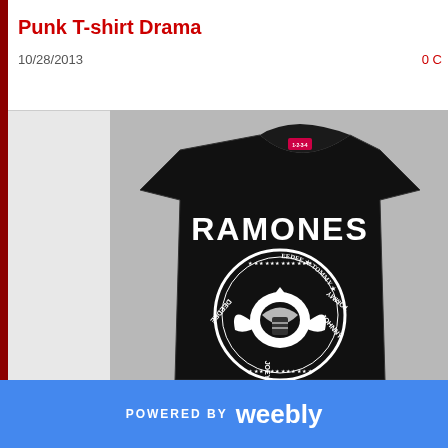Punk T-shirt Drama
10/28/2013
0 C
[Figure (photo): A black Ramones band t-shirt displaying the word RAMONES in large white letters and the classic Ramones presidential seal logo showing an eagle with names JOHNNY JOEY DEEDEE TOMMY around the circle]
POWERED BY weebly